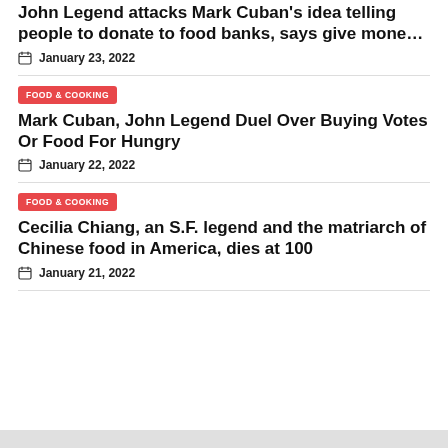John Legend attacks Mark Cuban’s idea telling people to donate to food banks, says give mone…
January 23, 2022
FOOD & COOKING
Mark Cuban, John Legend Duel Over Buying Votes Or Food For Hungry
January 22, 2022
FOOD & COOKING
Cecilia Chiang, an S.F. legend and the matriarch of Chinese food in America, dies at 100
January 21, 2022